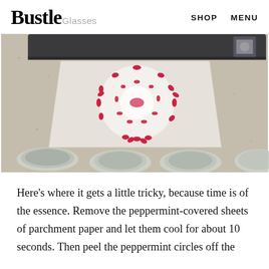Bustle  Glasses  SHOP  MENU
[Figure (photo): Photo showing a peppermint candy arrangement on parchment paper on a granite countertop, with glass jar lids visible and a dark baking pan at the top. The peppermints are arranged in a circular pattern with red swirl design.]
Here’s where it gets a little tricky, because time is of the essence. Remove the peppermint-covered sheets of parchment paper and let them cool for about 10 seconds. Then peel the peppermint circles off the